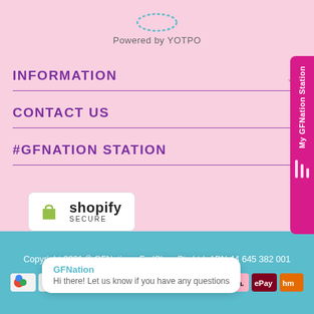Powered by YOTPO
INFORMATION
CONTACT US
#GFNATION STATION
[Figure (logo): Shopify Secure badge logo]
Copyright 2021 © GFNation - FodShop Pty Ltd. ABN 44 645 382 001
[Figure (infographic): Payment method icons: Google Pay, Mastercard, PayPal, Apple Pay, Visa, Afterpay, Zip, Klarna, ePay, Humm]